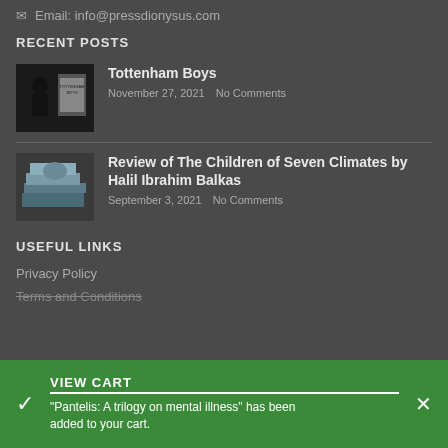Email: info@pressdionysus.com
RECENT POSTS
Tottenham Boys
November 27, 2021   No Comments
Review of The Children of Seven Climates by Halil Ibrahim Balkas
September 3, 2021   No Comments
USEFUL LINKS
Privacy Policy
Terms and Conditions
VIEW CART
"Pantelis: A trilogy on mental illness" has been added to your cart.